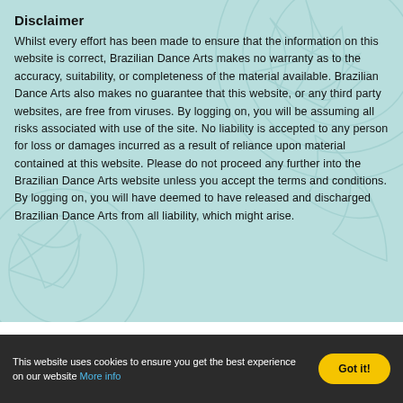Disclaimer
Whilst every effort has been made to ensure that the information on this website is correct, Brazilian Dance Arts makes no warranty as to the accuracy, suitability, or completeness of the material available. Brazilian Dance Arts also makes no guarantee that this website, or any third party websites, are free from viruses. By logging on, you will be assuming all risks associated with use of the site. No liability is accepted to any person for loss or damages incurred as a result of reliance upon material contained at this website. Please do not proceed any further into the Brazilian Dance Arts website unless you accept the terms and conditions. By logging on, you will have deemed to have released and discharged Brazilian Dance Arts from all liability, which might arise.
This website uses cookies to ensure you get the best experience on our website More info